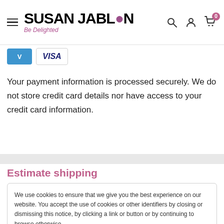SUSAN JABLON — Be Delighted — navigation header with search, account, and cart icons
[Figure (other): Payment method icons: Venmo and Visa]
Your payment information is processed securely. We do not store credit card details nor have access to your credit card information.
Estimate shipping
We use cookies to ensure that we give you the best experience on our website. You accept the use of cookies or other identifiers by closing or dismissing this notice, by clicking a link or button or by continuing to browse otherwise.